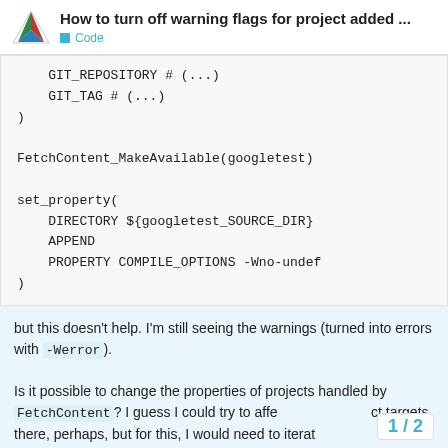How to turn off warning flags for project added ... | Code
GIT_REPOSITORY # (...)
    GIT_TAG # (...)
)

FetchContent_MakeAvailable(googletest)

set_property(
    DIRECTORY ${googletest_SOURCE_DIR}
    APPEND
    PROPERTY COMPILE_OPTIONS -Wno-undef
)
but this doesn't help. I'm still seeing the warnings (turned into errors with -Werror).
Is it possible to change the properties of projects handled by FetchContent? I guess I could try to affect targets there, perhaps, but for this, I would need to iterat complex CMake code) or to hardsode thei